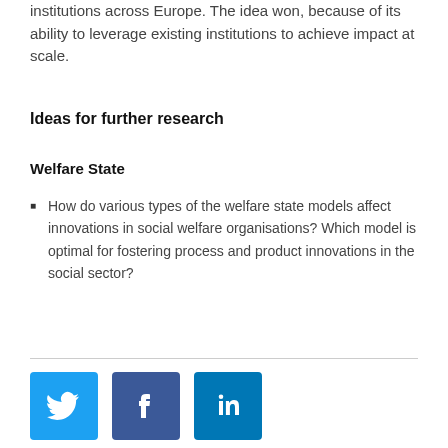institutions across Europe. The idea won, because of its ability to leverage existing institutions to achieve impact at scale.
Ideas for further research
Welfare State
How do various types of the welfare state models affect innovations in social welfare organisations? Which model is optimal for fostering process and product innovations in the social sector?
[Figure (infographic): Social media sharing icons: Twitter (blue bird icon), Facebook (dark blue f icon), LinkedIn (blue in icon)]